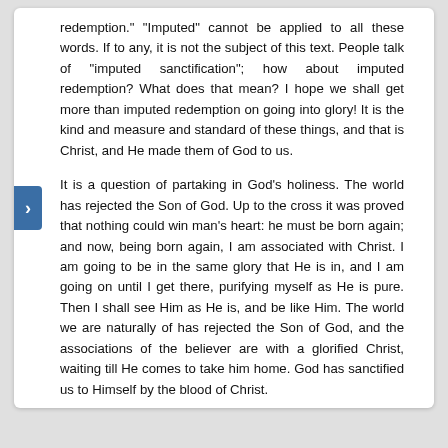redemption." "Imputed" cannot be applied to all these words. If to any, it is not the subject of this text. People talk of "imputed sanctification"; how about imputed redemption? What does that mean? I hope we shall get more than imputed redemption on going into glory! It is the kind and measure and standard of these things, and that is Christ, and He made them of God to us.
It is a question of partaking in God's holiness. The world has rejected the Son of God. Up to the cross it was proved that nothing could win man's heart: he must be born again; and now, being born again, I am associated with Christ. I am going to be in the same glory that He is in, and I am going on until I get there, purifying myself as He is pure. Then I shall see Him as He is, and be like Him. The world we are naturally of has rejected the Son of God, and the associations of the believer are with a glorified Christ, waiting till He comes to take him home. God has sanctified us to Himself by the blood of Christ.